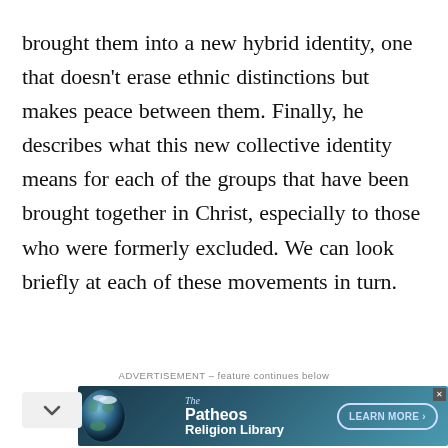brought them into a new hybrid identity, one that doesn't erase ethnic distinctions but makes peace between them. Finally, he describes what this new collective identity means for each of the groups that have been brought together in Christ, especially to those who were formerly excluded. We can look briefly at each of these movements in turn.
ADVERTISEMENT – feature continues below
[Figure (other): Patheos Religion Library advertisement banner with globe image, showing 'The Patheos Religion Library' text and a 'LEARN MORE >' button]